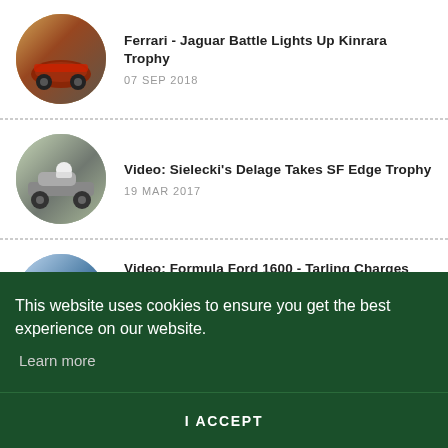[Figure (photo): Circular thumbnail of a vintage red Ferrari racing car on track]
Ferrari - Jaguar Battle Lights Up Kinrara Trophy
07 SEP 2018
[Figure (photo): Circular thumbnail of a vintage Delage racing car on track]
Video: Sielecki's Delage Takes SF Edge Trophy
19 MAR 2017
[Figure (photo): Circular thumbnail of a Formula Ford 1600 racing car]
Video: Formula Ford 1600 - Tarling Charges
This website uses cookies to ensure you get the best experience on our website.
Learn more
I ACCEPT
latest Historic Racing news